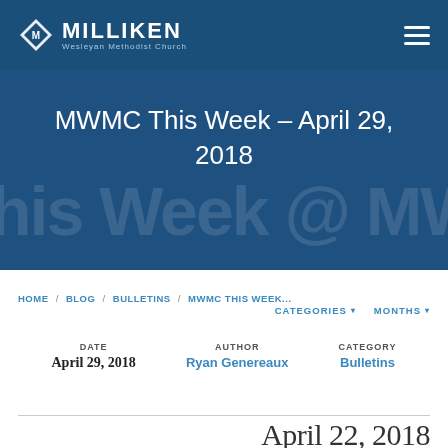MILLIKEN Wesleyan Methodist Church
MWMC This Week – April 29, 2018
HOME / BLOG / BULLETINS / MWMC THIS WEEK...
CATEGORIES ▾  MONTHS ▾
DATE
April 29, 2018
AUTHOR
Ryan Genereaux
CATEGORY
Bulletins
April 22, 2018